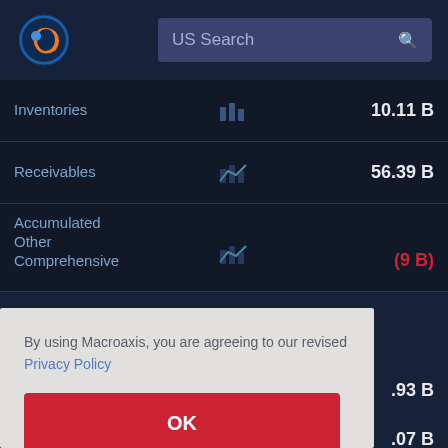[Figure (screenshot): Macroaxis logo - orange and blue globe icon]
US Search
| Item |  | Value |
| --- | --- | --- |
| Inventories |  | 10.11 B |
| Receivables |  | 56.39 B |
| Accumulated Other Comprehensive |  | (9 B) |
|  |  | .93 B |
|  |  | .07 B |
|  |  | .84 B |
| Cash and |  |  |
By using Macroaxis, you are agreeing to our revised Privacy Policy
OK